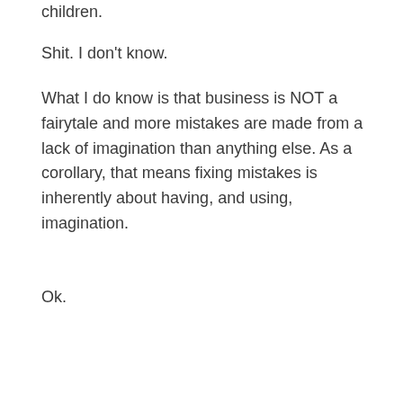children.
Shit. I don't know.
What I do know is that business is NOT a fairytale and more mistakes are made from a lack of imagination than anything else. As a corollary, that means fixing mistakes is inherently about having, and using, imagination.
Ok.